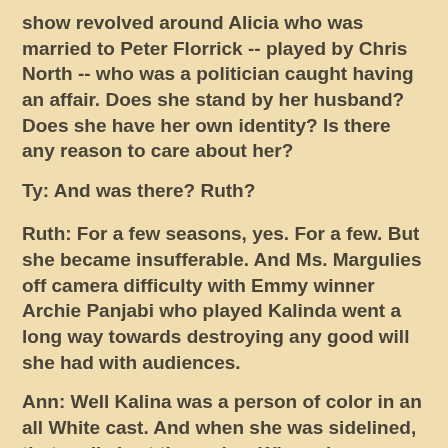show revolved around Alicia who was married to Peter Florrick -- played by Chris North -- who was a politician caught having an affair. Does she stand by her husband?  Does she have her own identity?  Is there any reason to care about her?
Ty: And was there?  Ruth?
Ruth: For a few seasons, yes.  For a few.  But she became insufferable.  And Ms. Margulies off camera difficulty with Emmy winner Archie Panjabi who played Kalinda went a long way towards destroying any good will she had with audiences.
Ann: Well Kalina was a person of color in an all White cast.  And when she was sidelined, that really hurt the series.  When she was then fired, that hurt the show more.  When it was learned that the White Princess Margulies would not even film a scene with her at the bar -- it had to be shot with them on the set at different times -- that really screamed White entitlement